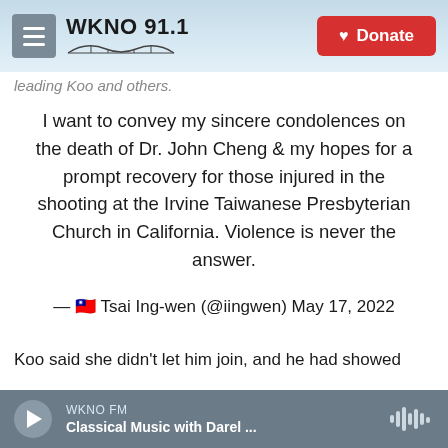WKNO 91.1 | Donate
leading Koo and others.
I want to convey my sincere condolences on the death of Dr. John Cheng & my hopes for a prompt recovery for those injured in the shooting at the Irvine Taiwanese Presbyterian Church in California. Violence is never the answer.

— 🇹🇼 Tsai Ing-wen (@iingwen) May 17, 2022
Koo said she didn't let him join, and he had showed
WKNO FM — Classical Music with Darel ...